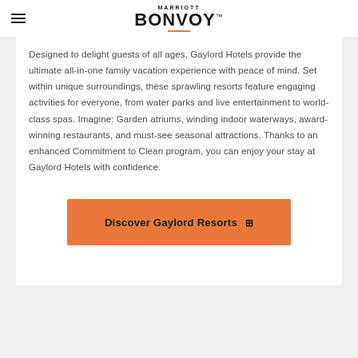MARRIOTT BONVOY
Designed to delight guests of all ages, Gaylord Hotels provide the ultimate all-in-one family vacation experience with peace of mind. Set within unique surroundings, these sprawling resorts feature engaging activities for everyone, from water parks and live entertainment to world-class spas. Imagine: Garden atriums, winding indoor waterways, award-winning restaurants, and must-see seasonal attractions. Thanks to an enhanced Commitment to Clean program, you can enjoy your stay at Gaylord Hotels with confidence.
Discover Gaylord Resorts